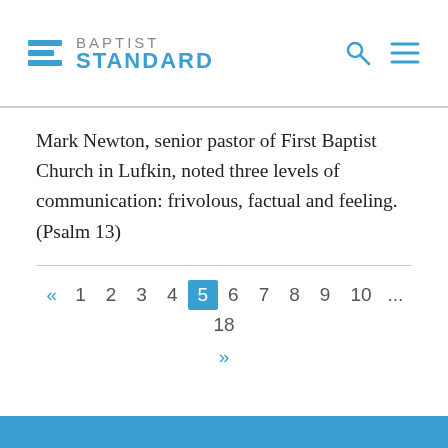[Figure (logo): Baptist Standard logo with stacked blue horizontal lines icon and text 'BAPTIST STANDARD' in blue/gray, plus search and menu icons on the right]
Mark Newton, senior pastor of First Baptist Church in Lufkin, noted three levels of communication: frivolous, factual and feeling. (Psalm 13)
« 1 2 3 4 5 6 7 8 9 10 ... 18 »